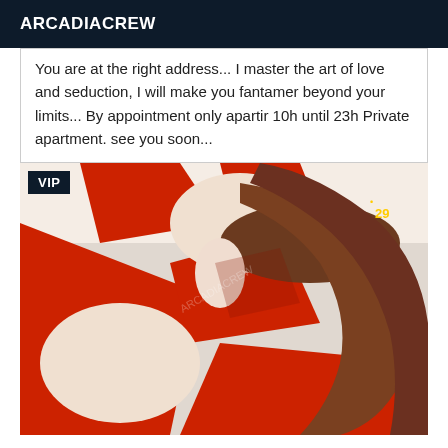ARCADIACREW
You are at the right address... I master the art of love and seduction, I will make you fantamer beyond your limits... By appointment only apartir 10h until 23h Private apartment. see you soon...
[Figure (photo): Person wearing a red criss-cross back dress with auburn hair, VIP badge overlay in top left corner]